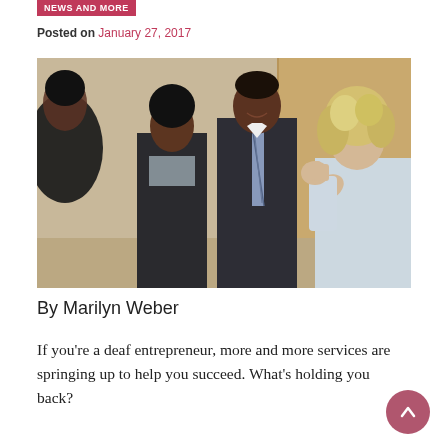NEWS AND MORE
Posted on January 27, 2017
[Figure (photo): Four people communicating using sign language in a professional/business setting. Two women and one man in business attire stand facing a blonde woman who is signing with her hands.]
By Marilyn Weber
If you're a deaf entrepreneur, more and more services are springing up to help you succeed. What's holding you back?